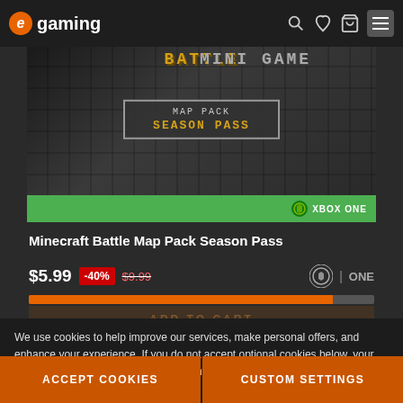e gaming
[Figure (screenshot): Minecraft Battle Mini Game Map Pack Season Pass product image with Xbox One green bar branding]
Minecraft Battle Map Pack Season Pass
$5.99  -40%  $9.99  ONE
We use cookies to help improve our services, make personal offers, and enhance your experience. If you do not accept optional cookies below, your experience may be affected. If you want to know more, please read the Cookies Policy
ACCEPT COOKIES
CUSTOM SETTINGS